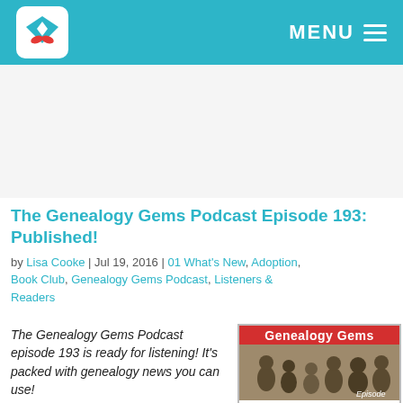MENU
The Genealogy Gems Podcast Episode 193: Published!
by Lisa Cooke | Jul 19, 2016 | 01 What's New, Adoption, Book Club, Genealogy Gems Podcast, Listeners & Readers
The Genealogy Gems Podcast episode 193 is ready for listening! It's packed with genealogy news you can use!
[Figure (photo): Genealogy Gems podcast cover image with old family photo and red 'Genealogy Gems' title bar, showing 'Episode' label at bottom right]